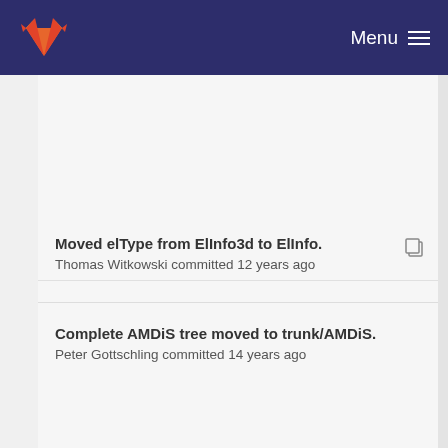Menu
Moved elType from ElInfo3d to ElInfo.
Thomas Witkowski committed 12 years ago
Complete AMDiS tree moved to trunk/AMDiS.
Peter Gottschling committed 14 years ago